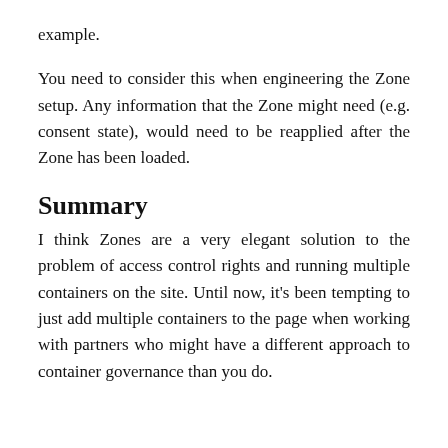example.
You need to consider this when engineering the Zone setup. Any information that the Zone might need (e.g. consent state), would need to be reapplied after the Zone has been loaded.
Summary
I think Zones are a very elegant solution to the problem of access control rights and running multiple containers on the site. Until now, it’s been tempting to just add multiple containers to the page when working with partners who might have a different approach to container governance than you do.